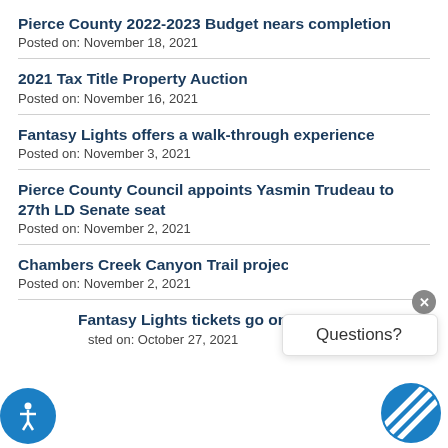Pierce County 2022-2023 Budget nears completion
Posted on: November 18, 2021
2021 Tax Title Property Auction
Posted on: November 16, 2021
Fantasy Lights offers a walk-through experience
Posted on: November 3, 2021
Pierce County Council appoints Yasmin Trudeau to 27th LD Senate seat
Posted on: November 2, 2021
Chambers Creek Canyon Trail project bridg…
Posted on: November 2, 2021
Fantasy Lights tickets go on sale Nov. 1
Posted on: October 27, 2021